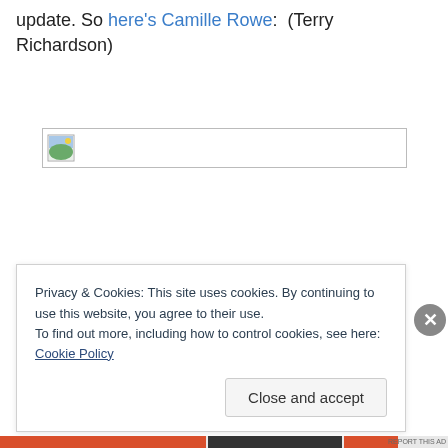update. So here's Camille Rowe:  (Terry Richardson)
[Figure (photo): Broken image placeholder box with a small landscape icon in the top-left corner]
Privacy & Cookies: This site uses cookies. By continuing to use this website, you agree to their use.
To find out more, including how to control cookies, see here: Cookie Policy
Close and accept